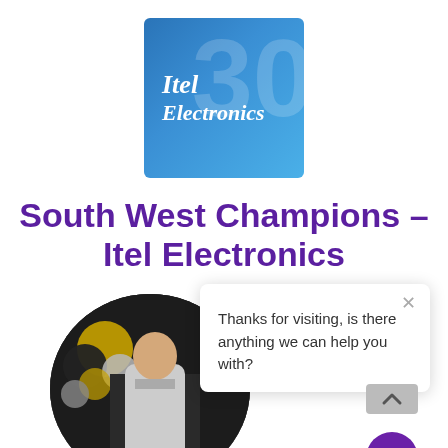[Figure (logo): Itel Electronics logo — blue square with large faint '30' and white italic text 'Itel Electronics']
South West Champions – Itel Electronics
[Figure (photo): Circular cropped photo of a person standing in an interior space with gold and black balloons. Overlaid with a chat popup widget saying 'Thanks for visiting, is there anything we can help you with?' and a purple chat bubble button.]